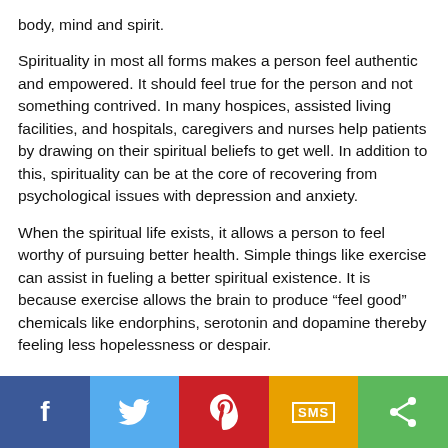body, mind and spirit.
Spirituality in most all forms makes a person feel authentic and empowered. It should feel true for the person and not something contrived. In many hospices, assisted living facilities, and hospitals, caregivers and nurses help patients by drawing on their spiritual beliefs to get well. In addition to this, spirituality can be at the core of recovering from psychological issues with depression and anxiety.
When the spiritual life exists, it allows a person to feel worthy of pursuing better health. Simple things like exercise can assist in fueling a better spiritual existence. It is because exercise allows the brain to produce “feel good” chemicals like endorphins, serotonin and dopamine thereby feeling less hopelessness or despair.
Spiritual well being is essential to physical and ment—
f | pinterest | SMS | share